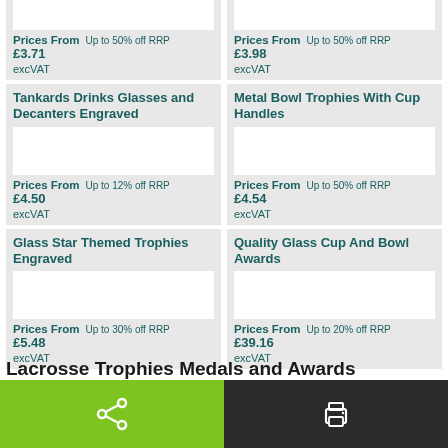[Figure (screenshot): Partial product card top row - left card showing price from £3.71 excVAT, Up to 50% off RRP]
[Figure (screenshot): Partial product card top row - right card showing price from £3.98 excVAT, Up to 50% off RRP]
Tankards Drinks Glasses and Decanters Engraved
Metal Bowl Trophies With Cup Handles
Prices From  Up to 12% off RRP
£4.50
excVAT
Prices From  Up to 50% off RRP
£4.54
excVAT
Glass Star Themed Trophies Engraved
Quality Glass Cup And Bowl Awards
Prices From  Up to 30% off RRP
£5.48
excVAT
Prices From  Up to 20% off RRP
£39.16
excVAT
Lacrosse Trophies Medals and Awards